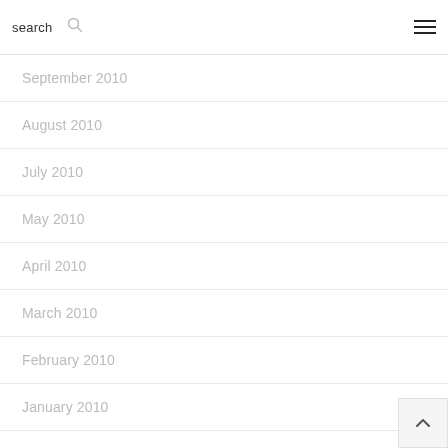search
September 2010
August 2010
July 2010
May 2010
April 2010
March 2010
February 2010
January 2010
December 2009
November 2009
October 2009
September 2009
August 2009